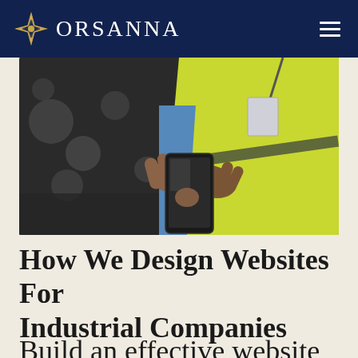ORSANNA
[Figure (photo): A person wearing a yellow high-visibility safety vest and blue shirt, holding and using a smartphone in an industrial setting with blurred machinery in the background.]
How We Design Websites For Industrial Companies
Build an effective website easily